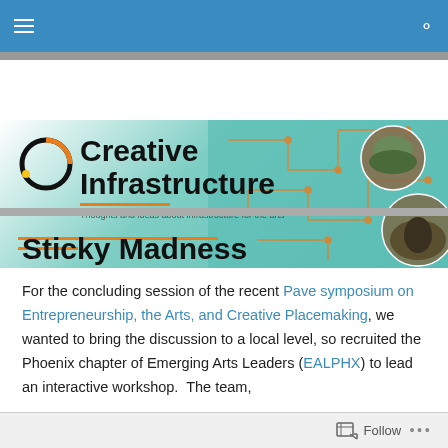Navigation bar with hamburger menu and search icon
[Figure (illustration): Creative Infrastructure blog banner with circular logo, bold title text, orange accent lines, and teal circuit board pattern with circular photo insets on the right]
Sticky Madness
For the concluding session of the recent Pave symposium on Entrepreneurship, the Arts, and Creative Placemaking, we wanted to bring the discussion to a local level, so recruited the Phoenix chapter of Emerging Arts Leaders (EALPHX) to lead an interactive workshop. The team,
Follow ...